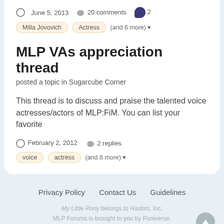June 5, 2013   20 comments   2
Milla Jovovich
Actress
(and 6 more)
MLP VAs appreciation thread
posted a topic in Sugarcube Corner
This thread is to discuss and praise the talented voice actresses/actors of MLP:FiM. You can list your favorite
February 2, 2012   2 replies
voice
actress
(and 8 more)
Privacy Policy   Contact Us   Guidelines
My Little Pony belongs to Hasbro, Inc.
MLP Forums is brought to you by Poniverse.
All content is © its respective creators.
Powered by Invision Community